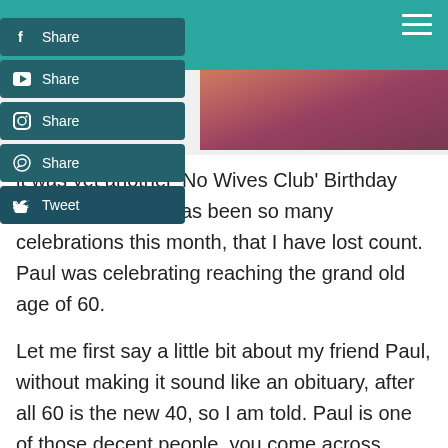[Figure (screenshot): Teal header bar with hamburger menu icon on right, and a partially visible photo strip of a person in plaid behind social share buttons]
f  Share
[YouTube icon]  Share
[Instagram icon]  Share
[WhatsApp icon]  Share
[Twitter icon]  Tweet
It was yet another 'No Wives Club' Birthday yesterday. There has been so many celebrations this month, that I have lost count. Paul was celebrating reaching the grand old age of 60.
Let me first say a little bit about my friend Paul, without making it sound like an obituary, after all 60 is the new 40, so I am told. Paul is one of those decent people, you come across rarely. He has been a